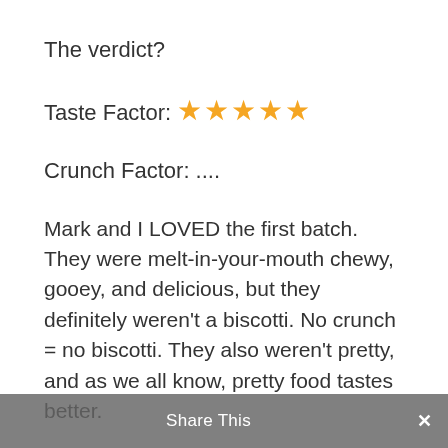The verdict?
Taste Factor: ★★★★★
Crunch Factor: ....
Mark and I LOVED the first batch. They were melt-in-your-mouth chewy, gooey, and delicious, but they definitely weren't a biscotti. No crunch = no biscotti. They also weren't pretty, and as we all know, pretty food tastes better.
The second batch? Burned to a crisp. I accidentally set the oven to 425 instead of 350. #facepalm
Share This ×